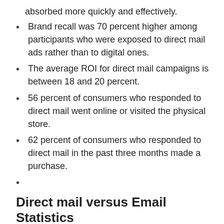absorbed more quickly and effectively.
Brand recall was 70 percent higher among participants who were exposed to direct mail ads rather than to digital ones.
The average ROI for direct mail campaigns is between 18 and 20 percent.
56 percent of consumers who responded to direct mail went online or visited the physical store.
62 percent of consumers who responded to direct mail in the past three months made a purchase.
Direct mail versus Email Statistics
80-90 percent of direct mail gets opened, only 20-30 percent of emails do when opened.